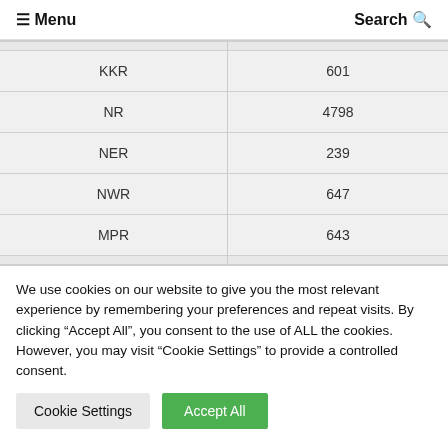≡ Menu   Search Q
| KKR | 601 |
| NR | 4798 |
| NER | 239 |
| NWR | 647 |
| MPR | 643 |
We use cookies on our website to give you the most relevant experience by remembering your preferences and repeat visits. By clicking "Accept All", you consent to the use of ALL the cookies. However, you may visit "Cookie Settings" to provide a controlled consent.
Cookie Settings   Accept All